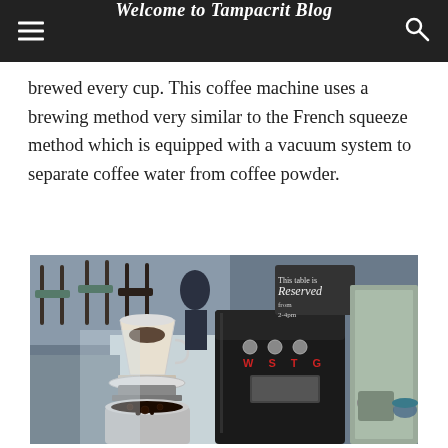Welcome to Tampacrit Blog
brewed every cup. This coffee machine uses a brewing method very similar to the French squeeze method which is equipped with a vacuum system to separate coffee water from coffee powder.
[Figure (photo): A coffee machine with W S T C controls and a pour-over coffee cup setup on a counter, with a 'Reserved' sign and café seating visible in the background.]